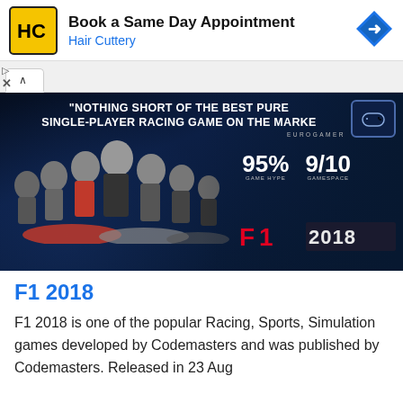[Figure (infographic): Hair Cuttery advertisement banner with yellow/black logo, text 'Book a Same Day Appointment', 'Hair Cuttery', and a blue navigation arrow icon]
[Figure (infographic): F1 2018 game banner on dark blue background showing F1 drivers and cars, with quote 'NOTHING SHORT OF THE BEST PURE SINGLE-PLAYER RACING GAME ON THE MARKET' attributed to EUROGAMER, scores 95% GAME HYPE and 9/10 GAMESPACE, and F1 2018 logo]
F1 2018
F1 2018 is one of the popular Racing, Sports, Simulation games developed by Codemasters and was published by Codemasters. Released in 23 Aug